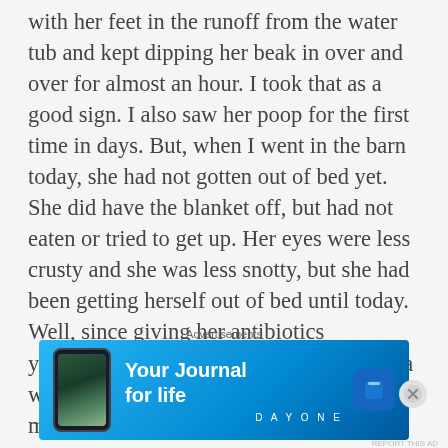with her feet in the runoff from the water tub and kept dipping her beak in over and over for almost an hour. I took that as a good sign. I also saw her poop for the first time in days. But, when I went in the barn today, she had not gotten out of bed yet. She did have the blanket off, but had not eaten or tried to get up. Her eyes were less crusty and she was less snotty, but she had been getting herself out of bed until today. Well, since giving her antibiotics yesterday, I knew her little tummy bacteria were probably all out of whack. So, I mixed some applesauce with some yogurt and syringed that into her. The yogurt will help re-
Advertisements
[Figure (other): Advertisement banner for Day One app — 'Your Journal for life' with a phone image on a blue gradient background and Day One logo]